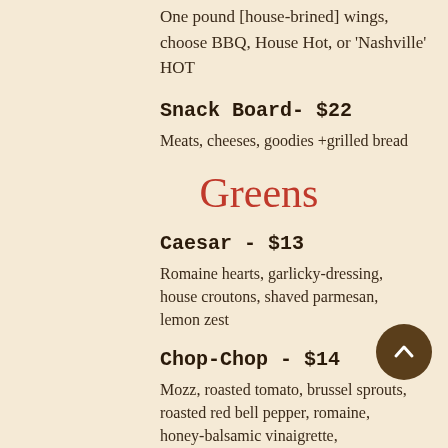One pound [house-brined] wings, choose BBQ, House Hot, or 'Nashville' HOT
Snack Board- $22
Meats, cheeses, goodies +grilled bread
Greens
Caesar - $13
Romaine hearts, garlicky-dressing, house croutons, shaved parmesan, lemon zest
Chop-Chop - $14
Mozz, roasted tomato, brussel sprouts, roasted red bell pepper, romaine, honey-balsamic vinaigrette,